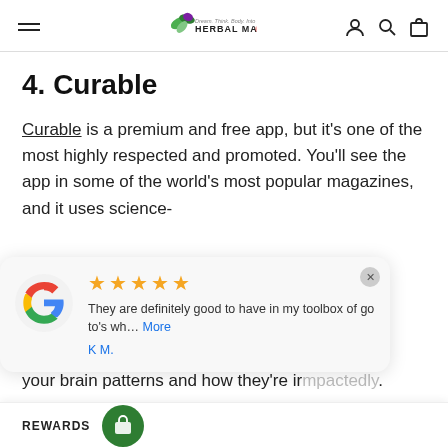HERBAL MANA
4. Curable
Curable is a premium and free app, but it's one of the most highly respected and promoted. You'll see the app in some of the world's most popular magazines, and it uses science-
[Figure (screenshot): Google review popup showing 5 gold stars, review text: 'They are definitely good to have in my toolbox of go to's wh... More', reviewer name 'K M.']
your brain patterns and how they're ir...dy.
Features available in the app include:
REWARDS